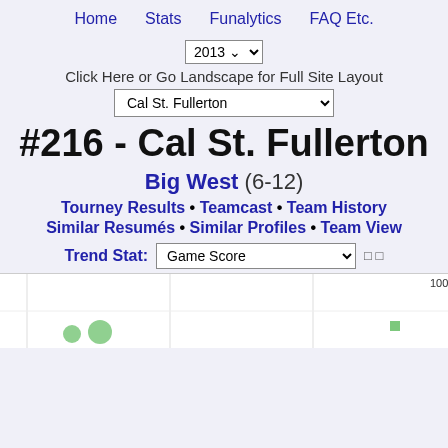Home  Stats  Funalytics  FAQ Etc.
2013
Click Here or Go Landscape for Full Site Layout
Cal St. Fullerton
#216 - Cal St. Fullerton
Big West (6-12)
Tourney Results • Teamcast • Team History
Similar Resumés • Similar Profiles • Team View
Trend Stat: Game Score
[Figure (scatter-plot): Partial chart showing Game Score trend with scattered dot markers at bottom left and a small square marker near center-right. Y-axis shows 100 at top.]